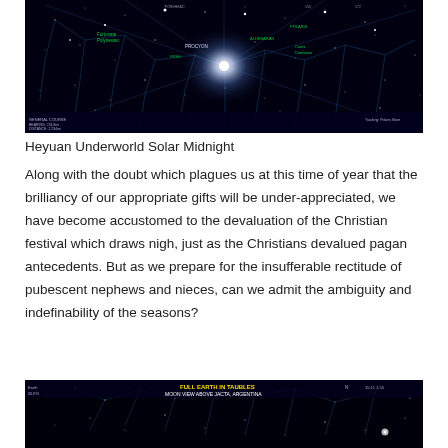[Figure (screenshot): Star map / astronomy software screenshot showing Heyuan Underworld Solar Midnight — a dark sky chart with constellation lines, star labels, and a bright central glow, with green and white text overlays showing coordinates and object names.]
Heyuan Underworld Solar Midnight
Along with the doubt which plagues us at this time of year that the brilliancy of our appropriate gifts will be under-appreciated, we have become accustomed to the devaluation of the Christian festival which draws nigh, just as the Christians devalued pagan antecedents. But as we prepare for the insufferable rectitude of pubescent nephews and nieces, can we admit the ambiguity and indefinability of the seasons?
[Figure (screenshot): Star map / astronomy software screenshot showing Full Earth in Taubles — Moon View above Jacta, Argentina, with constellation lines on a dark background and text overlays in yellow/white.]